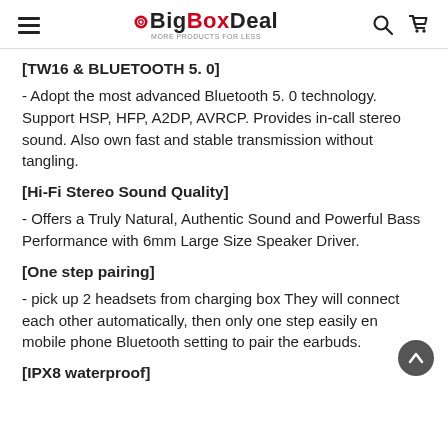BigBoxDeal — More Products for Less
[TW16 & BLUETOOTH 5. 0]
- Adopt the most advanced Bluetooth 5. 0 technology. Support HSP, HFP, A2DP, AVRCP. Provides in-call stereo sound. Also own fast and stable transmission without tangling.
[Hi-Fi Stereo Sound Quality]
- Offers a Truly Natural, Authentic Sound and Powerful Bass Performance with 6mm Large Size Speaker Driver.
[One step pairing]
- pick up 2 headsets from charging box They will connect each other automatically, then only one step easily en mobile phone Bluetooth setting to pair the earbuds.
[IPX8 waterproof]